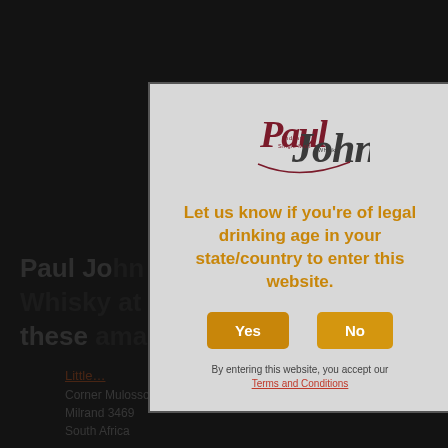Paul Jo… …at these…
Little…
Corner Mulosson Road & Akiram Nicol Dr, Fourways, Milrand 3469, South Africa
[Figure (logo): Paul John Indian Single Malt Whisky logo in dark red script]
Let us know if you're of legal drinking age in your state/country to enter this website.
Yes
No
By entering this website, you accept our Terms and Conditions